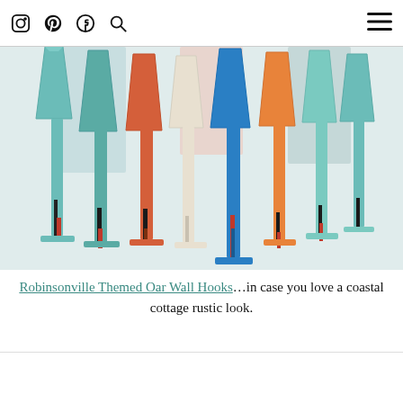Social media icons: Instagram, Pinterest, Facebook, Search, Hamburger menu
[Figure (photo): Row of colorful rustic distressed wooden oar wall hooks in various colors: teal, orange-red, cream/white, blue, orange, light teal. Each oar has a paddle blade at top and a T-bar foot at bottom. Coastal cottage style.]
Robinsonville Themed Oar Wall Hooks…in case you love a coastal cottage rustic look.